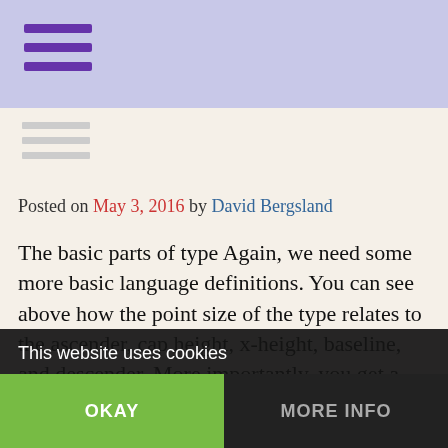Navigation bar with hamburger menu
Posted on May 3, 2016 by David Bergsland
The basic parts of type Again, we need some more basic language definitions. You can see above how the point size of the type relates to the ascender, cap height, x-height, baseline, and descender. More importantly, you get a glimpse of things that are important in the world of typography. This illustration is from my font design book, Practical Font Design With FontLab 5, which is available in print as well as ebooks at iBookstore, NookBooks,
This website uses cookies
OKAY | MORE INFO